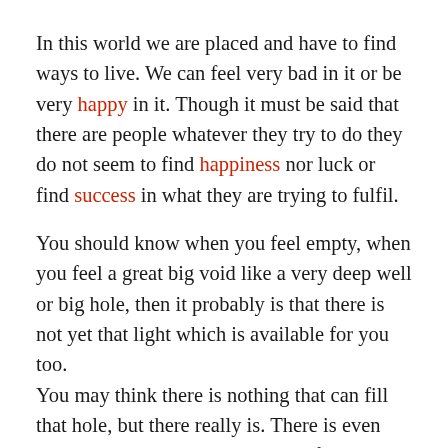In this world we are placed and have to find ways to live. We can feel very bad in it or be very happy in it. Though it must be said that there are people whatever they try to do they do not seem to find happiness nor luck or find success in what they are trying to fulfil.
You should know when you feel empty, when you feel a great big void like a very deep well or big hole, then it probably is that there is not yet that light which is available for you too.
You may think there is nothing that can fill that hole, but there really is. There is even such Supreme Being that on top of the hole can build a mountain so high that you shall be able to look down at this terrible word and